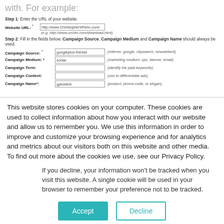with. For example:
Step 1: Enter the URL of your website.
[Figure (screenshot): Web form showing URL input field with value http://www.ChristopherSPenn.com/ and subtext (e.g. http://www.urchin.com/download.html)]
Step 2: Fill in the fields below. Campaign Source, Campaign Medium and Campaign Name should always be used.
[Figure (screenshot): Form fields: Campaign Source (googleplus-friends), Campaign Medium (social), Campaign Term (empty), Campaign Content (empty), Campaign Name (gplustest) with hints]
This website stores cookies on your computer. These cookies are used to collect information about how you interact with our website and allow us to remember you. We use this information in order to improve and customize your browsing experience and for analytics and metrics about our visitors both on this website and other media. To find out more about the cookies we use, see our Privacy Policy.
If you decline, your information won't be tracked when you visit this website. A single cookie will be used in your browser to remember your preference not to be tracked.
[Figure (screenshot): Two buttons: Accept (teal filled) and Decline (teal outline)]